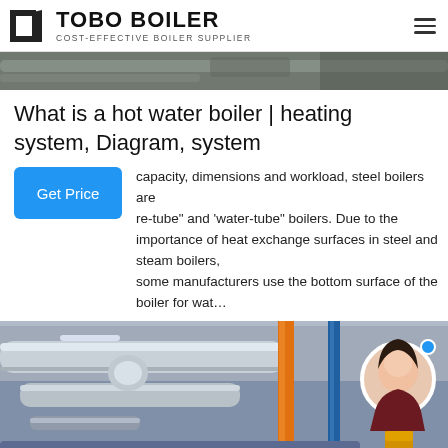TOBO BOILER — COST-EFFECTIVE BOILER SUPPLIER
[Figure (photo): Industrial boiler/machinery equipment photo strip at top of page]
What is a hot water boiler | heating system, Diagram, system
capacity, dimensions and workload, steel boilers are re-tube" and "water-tube" boilers. Due to the importance of heat exchange surfaces in steel and steam boilers, some manufacturers use the bottom surface of the boiler for wat…
[Figure (photo): Industrial boiler room with large insulated pipes, orange vertical pipe, blue pipe, large blue cylindrical boiler body, and yellow railing on right side. A woman's avatar and WhatsApp button overlay are visible.]